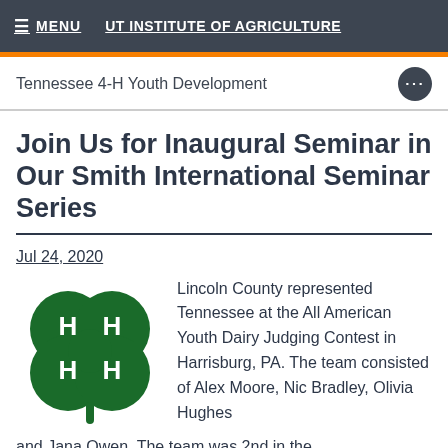≡ MENU   UT INSTITUTE OF AGRICULTURE
Tennessee 4-H Youth Development
Join Us for Inaugural Seminar in Our Smith International Seminar Series
Jul 24, 2020
[Figure (logo): 4-H clover logo in green with H letters on each leaf]
Lincoln County represented Tennessee at the All American Youth Dairy Judging Contest in Harrisburg, PA. The team consisted of Alex Moore, Nic Bradley, Olivia Hughes and Jana Owen. The team was 2nd in the